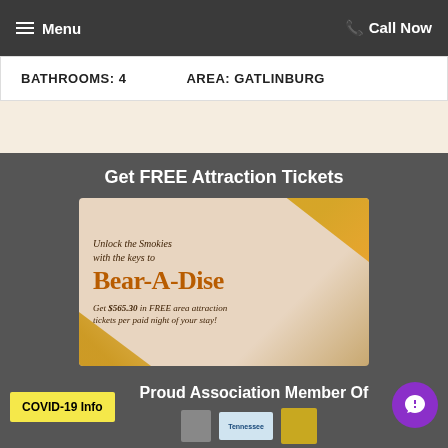Menu   Call Now
BATHROOMS: 4   AREA: GATLINBURG
Get FREE Attraction Tickets
[Figure (illustration): Bear-A-Dise promotional banner with autumn leaves. Text reads: 'Unlock the Smokies with the keys to Bear-A-Dise. Get $565.30 in FREE area attraction tickets per paid night of your stay!']
Proud Association Member Of
COVID-19 Info